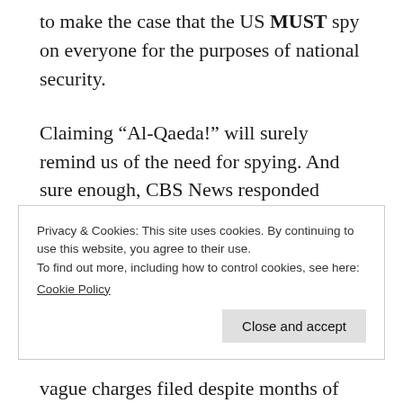to make the case that the US MUST spy on everyone for the purposes of national security.
Claiming “Al-Qaeda!” will surely remind us of the need for spying. And sure enough, CBS News responded appropriately about the “confirmation” of a chemical weapons program developed through “commercial” and widely available ingredients.
Privacy & Cookies: This site uses cookies. By continuing to use this website, you agree to their use.
To find out more, including how to control cookies, see here:
Cookie Policy
vague charges filed despite months of